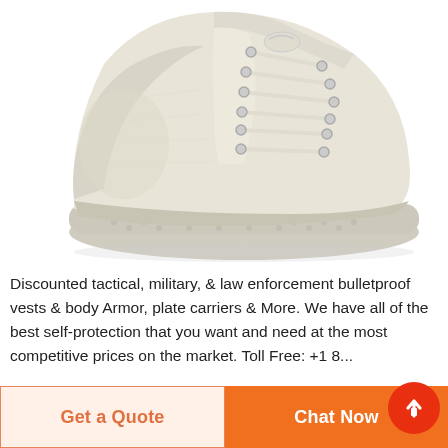[Figure (photo): A white/cream high-top canvas sneaker with laces and thick rubber sole, photographed on white background, viewed from the front-left angle.]
Discounted tactical, military, & law enforcement bulletproof vests & body Armor, plate carriers & More. We have all of the best self-protection that you want and need at the most competitive prices on the market. Toll Free: +1 8...